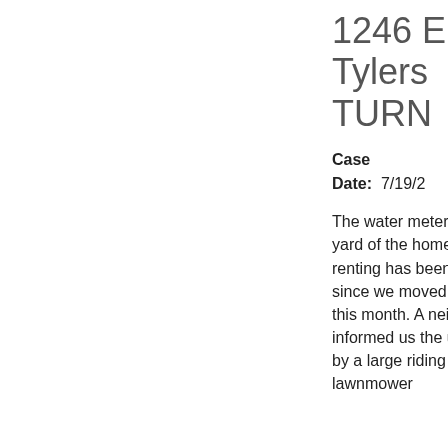1246 E Tylers TURN
Case Date: 7/19/2
The water meter in the front yard of the home I am renting has been flooded since we moved in earlier this month. A neighbor informed us the unit was hit by a large riding lawnmower